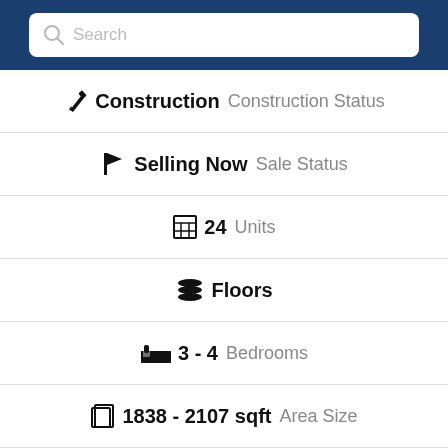[Figure (screenshot): Search bar with magnifying glass icon and placeholder text 'Search']
Construction  Construction Status
Selling Now  Sale Status
24  Units
Floors
3 - 4  Bedrooms
1838 - 2107 sqft  Area Size
Request info